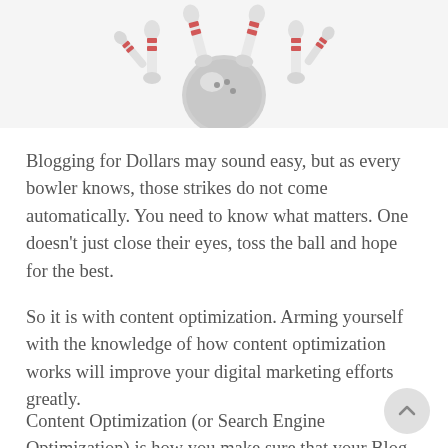[Figure (illustration): Bowling ball striking bowling pins, illustrated in grayscale. The ball and scattered pins are shown from a low angle perspective with pins flying upward.]
Blogging for Dollars may sound easy, but as every bowler knows, those strikes do not come automatically. You need to know what matters. One doesn't just close their eyes, toss the ball and hope for the best.
So it is with content optimization. Arming yourself with the knowledge of how content optimization works will improve your digital marketing efforts greatly.
Content Optimization (or Search Engine Optimization) is how you make sure that your Blog (or content) ends up where you want it, that is, in your potential customer's hands.
Specifically, Content Optimization is the...